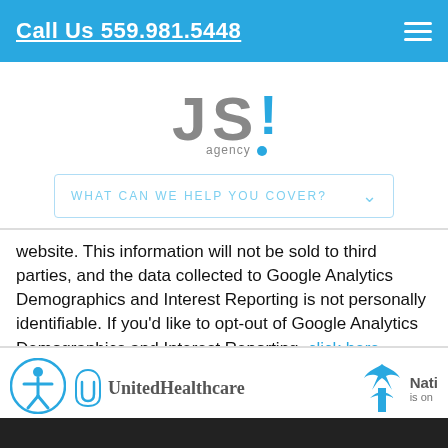Call Us 559.981.5448
[Figure (logo): JSI Agency logo with blue exclamation mark]
[Figure (other): Dropdown menu: WHAT CAN WE HELP YOU COVER?]
website. This information will not be sold to third parties, and the data collected to Google Analytics Demographics and Interest Reporting is not personally identifiable. If you'd like to opt-out of Google Analytics Demographics and Interest Reporting, click here.
[Figure (logo): UnitedHealthcare logo]
[Figure (logo): Nationwide (Nati... is on...) logo, partially visible]